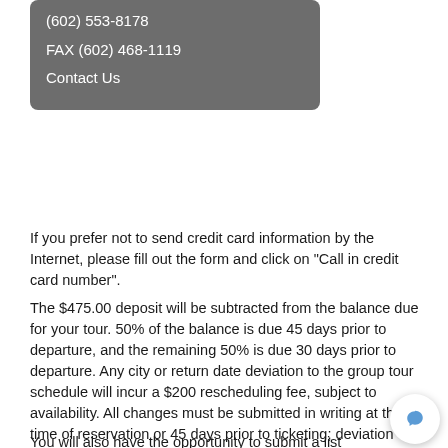(602) 553-8178
FAX (602) 468-1119
Contact Us
If you prefer not to send credit card information by the Internet, please fill out the form and click on "Call in credit card number".
The $475.00 deposit will be subtracted from the balance due for your tour. 50% of the balance is due 45 days prior to departure, and the remaining 50% is due 30 days prior to departure. Any city or return date deviation to the group tour schedule will incur a $200 rescheduling fee, subject to availability. All changes must be submitted in writing at the time of reservation or 45 days prior to ticketing; deviation requests after ticketing will incur additional fees.
You will also have the opportunity to submit a list